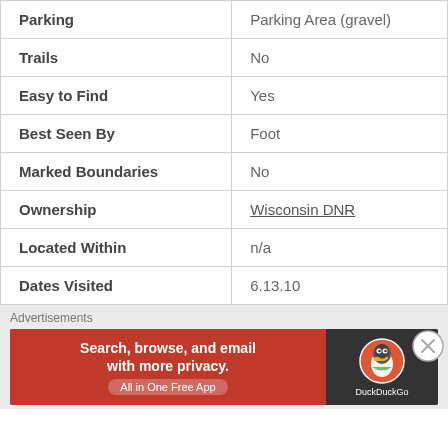| Feature | Value |
| --- | --- |
| Parking | Parking Area (gravel) |
| Trails | No |
| Easy to Find | Yes |
| Best Seen By | Foot |
| Marked Boundaries | No |
| Ownership | Wisconsin DNR |
| Located Within | n/a |
| Dates Visited | 6.13.10 |
Advertisements
[Figure (other): DuckDuckGo advertisement banner: Search, browse, and email with more privacy. All in One Free App]